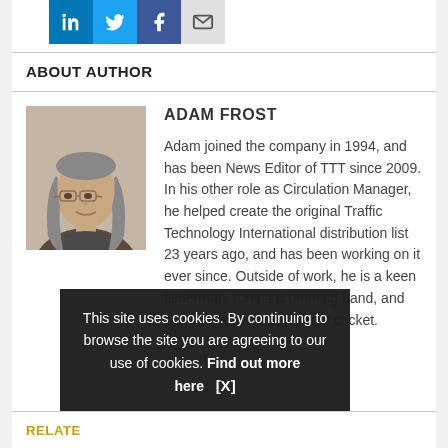[Figure (other): Social media sharing icons: LinkedIn (blue), Twitter (light blue), Facebook (dark blue), Email (grey envelope)]
ABOUT AUTHOR
[Figure (photo): Headshot photo of Adam Frost, an older man with long grey hair and glasses]
ADAM FROST
Adam joined the company in 1994, and has been News Editor of TTT since 2009. In his other role as Circulation Manager, he helped create the original Traffic Technology International distribution list 23 years ago, and has been working on it ever since. Outside of work, he is a keen fisherman, runs a drumming band, and plays an ancient version of cricket.
This site uses cookies. By continuing to browse the site you are agreeing to our use of cookies. Find out more here   [X]
RELATED